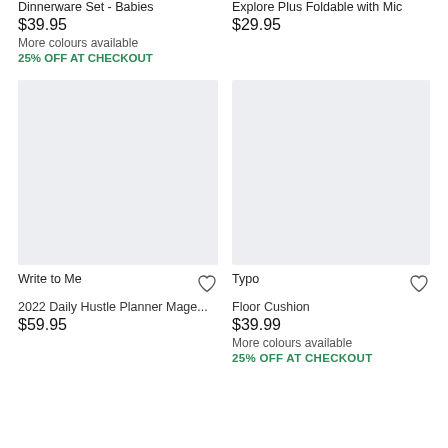Dinnerware Set - Babies
$39.95
More colours available
25% OFF AT CHECKOUT
Explore Plus Foldable with Mic
$29.95
[Figure (photo): Product image placeholder - light gray background]
Write to Me
2022 Daily Hustle Planner Mage...
$59.95
[Figure (photo): Product image placeholder - light gray background]
Typo
Floor Cushion
$39.99
More colours available
25% OFF AT CHECKOUT